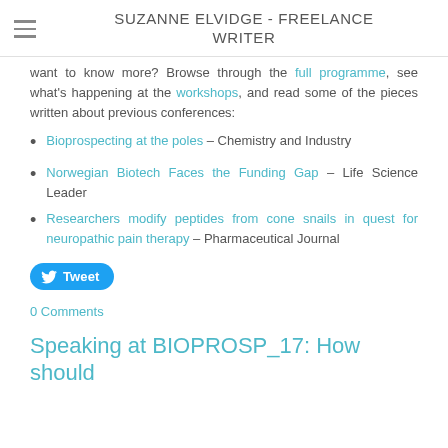SUZANNE ELVIDGE - FREELANCE WRITER
want to know more? Browse through the full programme, see what's happening at the workshops, and read some of the pieces written about previous conferences:
Bioprospecting at the poles – Chemistry and Industry
Norwegian Biotech Faces the Funding Gap – Life Science Leader
Researchers modify peptides from cone snails in quest for neuropathic pain therapy – Pharmaceutical Journal
Tweet
0 Comments
Speaking at BIOPROSP_17: How should